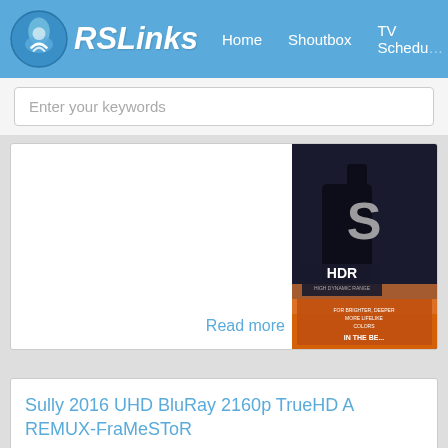RSLinks — Home | Shoutbox | TV Schedu...
Enter your keywords
[Figure (photo): Movie cover art showing HDR logo and 'THE BE...' text, with superhero/sci-fi imagery]
Read more
Sully 2016 UHD BluRay 2160p TrueHD A REMUX-FraMeSToR